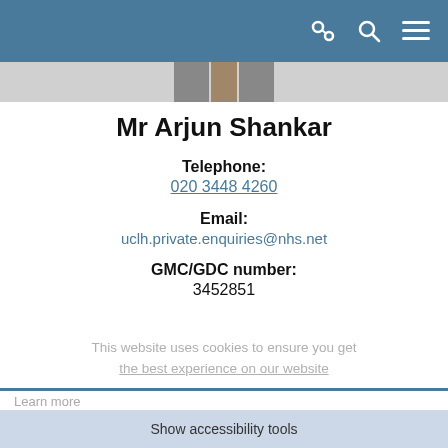[Figure (other): Blue navigation header bar with link, search, and menu icons on the right]
[Figure (photo): Partial profile photo of Mr Arjun Shankar at the top of the page]
Mr Arjun Shankar
Telephone:
020 3448 4260
Email:
uclh.private.enquiries@nhs.net
GMC/GDC number:
3452851
This website uses cookies to ensure you get the best experience on our website.
Learn more
Professional background
Mr Arjun Shankar trained at university college hospital medical school, qualifying in 1990. He then undertook his postgrad... East Thames
Show accessibility tools